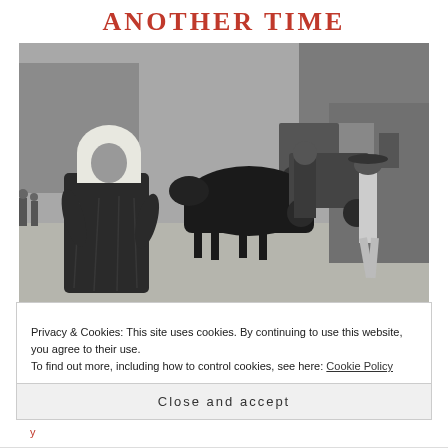ANOTHER TIME
[Figure (photo): Black and white historical photograph showing a street scene with a young girl in a white bonnet and dark dress in the foreground, a man leading oxen pulling a cart in the middle, and another man in a hat walking on the right side of the scene. Trees and buildings are visible in the background.]
Privacy & Cookies: This site uses cookies. By continuing to use this website, you agree to their use.
To find out more, including how to control cookies, see here: Cookie Policy
Close and accept